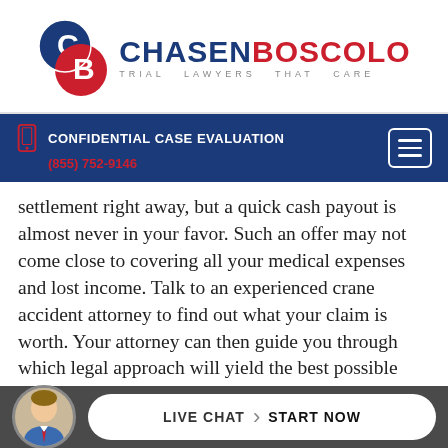[Figure (logo): ChasenBoscolo Trial Lawyers That Care logo with circular CB emblem]
CONFIDENTIAL CASE EVALUATION (855) 752-9146
settlement right away, but a quick cash payout is almost never in your favor. Such an offer may not come close to covering all your medical expenses and lost income. Talk to an experienced crane accident attorney to find out what your claim is worth. Your attorney can then guide you through which legal approach will yield the best possible outcome.